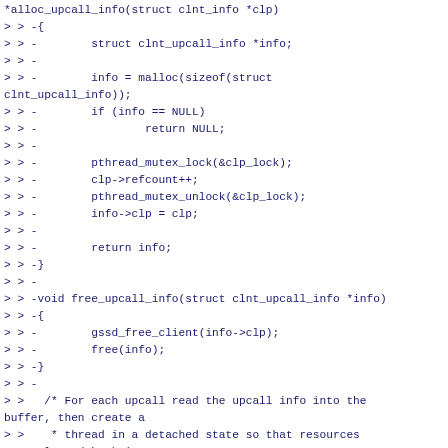*alloc_upcall_info(struct clnt_info *clp)
> > -{
> > -        struct clnt_upcall_info *info;
> > -
> > -        info = malloc(sizeof(struct clnt_upcall_info));
> > -        if (info == NULL)
> > -                return NULL;
> > -
> > -        pthread_mutex_lock(&clp_lock);
> > -        clp->refcount++;
> > -        pthread_mutex_unlock(&clp_lock);
> > -        info->clp = clp;
> > -
> > -        return info;
> > -}
> > -
> > -void free_upcall_info(struct clnt_upcall_info *info)
> > -{
> > -        gssd_free_client(info->clp);
> > -        free(info);
> > -}
> > -
> >   /* For each upcall read the upcall info into the buffer, then create a
> >    * thread in a detached state so that resources are released back into
> >    * the system without the need for a join.
> > @@ -473,44 +424,16 @@ static void